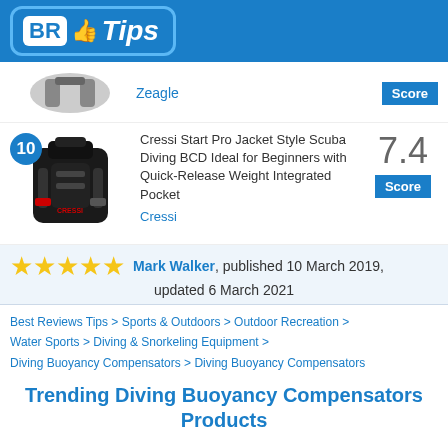BR Tips
[Figure (photo): Partial product image of Zeagle BCD with Score badge]
Zeagle
[Figure (photo): Cressi Start Pro Jacket Style Scuba Diving BCD product photo with rank badge 10]
Cressi Start Pro Jacket Style Scuba Diving BCD Ideal for Beginners with Quick-Release Weight Integrated Pocket
Cressi
7.4 Score
★★★★★ Mark Walker, published 10 March 2019, updated 6 March 2021
Best Reviews Tips > Sports & Outdoors > Outdoor Recreation > Water Sports > Diving & Snorkeling Equipment > Diving Buoyancy Compensators > Diving Buoyancy Compensators
Trending Diving Buoyancy Compensators Products